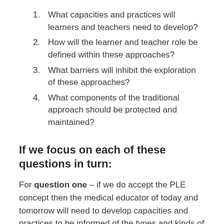What capacities and practices will learners and teachers need to develop?
How will the learner and teacher role be defined within these approaches?
What barriers will inhibit the exploration of these approaches?
What components of the traditional approach should be protected and maintained?
If we focus on each of these questions in turn:
For question one – if we do accept the PLE concept then the medical educator of today and tomorrow will need to develop capacities and practices to be informed of the types and kinds of